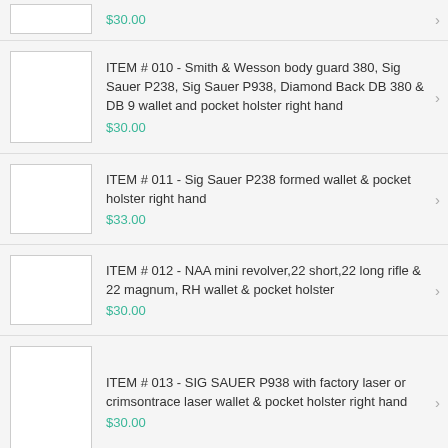$30.00
ITEM # 010 - Smith & Wesson body guard 380, Sig Sauer P238, Sig Sauer P938, Diamond Back DB 380 & DB 9 wallet and pocket holster right hand $30.00
ITEM # 011 - Sig Sauer P238 formed wallet & pocket holster right hand $33.00
ITEM # 012 - NAA mini revolver,22 short,22 long rifle & 22 magnum, RH wallet & pocket holster $30.00
ITEM # 013 - SIG SAUER P938 with factory laser or crimsontrace laser wallet & pocket holster right hand $30.00
ITEM # 014 - NAA PUG,mini revolver wallet & pocket holster $30.00